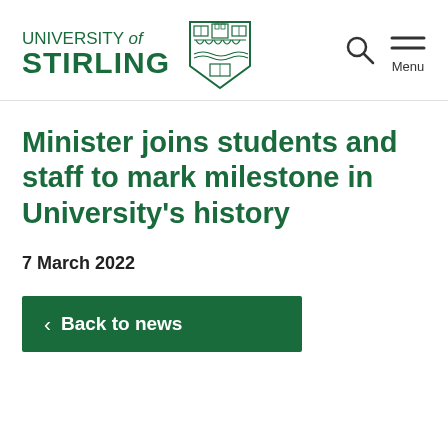[Figure (logo): University of Stirling logo with shield crest]
University of Stirling navigation header with search and menu icons
Minister joins students and staff to mark milestone in University's history
7 March 2022
< Back to news